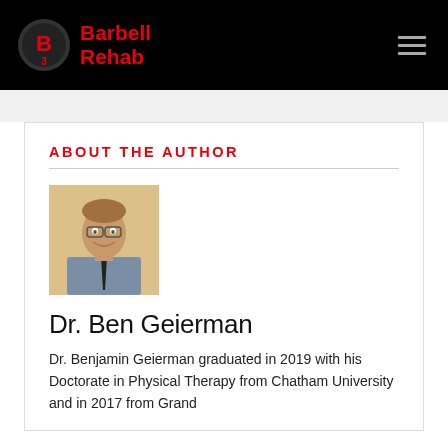Barbell Rehab
ABOUT THE AUTHOR
[Figure (photo): Headshot photo of Dr. Ben Geierman, a young man smiling, wearing a collared shirt and tie, against a light beige background.]
Dr. Ben Geierman
Dr. Benjamin Geierman graduated in 2019 with his Doctorate in Physical Therapy from Chatham University and in 2017 from Grand